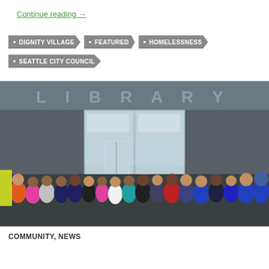Continue reading →
DIGNITY VILLAGE
FEATURED
HOMELESSNESS
SEATTLE CITY COUNCIL
[Figure (photo): Group of children standing in front of a library building with large glass windows and 'LIBRARY' text visible above the entrance.]
COMMUNITY, NEWS